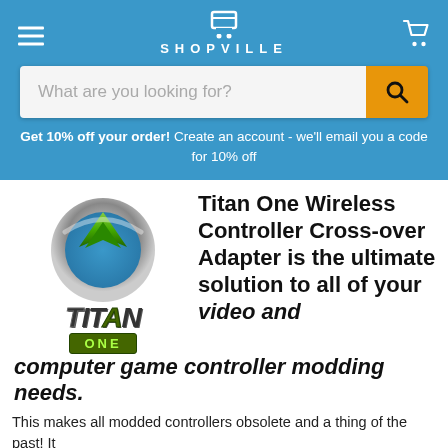SHOPVILLE
What are you looking for?
Get 10% off your order! Create an account - we'll email you a code for 10% off
[Figure (logo): Titan One product logo with metallic circular emblem and green arrow, with TITAN ONE text below]
Titan One Wireless Controller Cross-over Adapter is the ultimate solution to all of your video and computer game controller modding needs.
This makes all modded controllers obsolete and a thing of the past! It